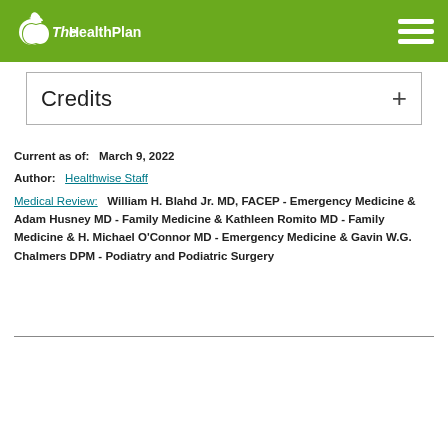The Health Plan
Credits +
Current as of:  March 9, 2022
Author:  Healthwise Staff
Medical Review:  William H. Blahd Jr. MD, FACEP - Emergency Medicine & Adam Husney MD - Family Medicine & Kathleen Romito MD - Family Medicine & H. Michael O'Connor MD - Emergency Medicine & Gavin W.G. Chalmers DPM - Podiatry and Podiatric Surgery